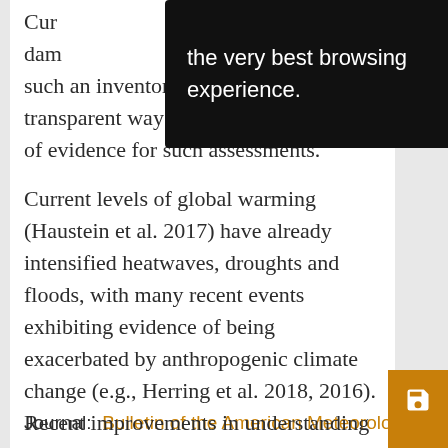[Figure (screenshot): Black tooltip overlay with white text reading 'the very best browsing experience.']
Current levels of global warming and damage ... such an inventory we present a transparent way to ascertain the quality of evidence for such assessments.
Current levels of global warming (Haustein et al. 2017) have already intensified heatwaves, droughts and floods, with many recent events exhibiting evidence of being exacerbated by anthropogenic climate change (e.g., Herring et al. 2018, 2016). Recent improvements in understanding demonstrate
... Show More
Journal: Bulletin of the American Meteorological